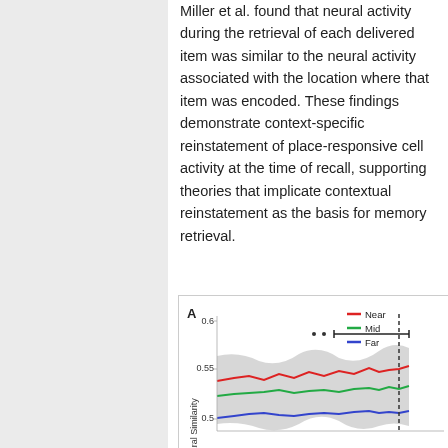Miller et al. found that neural activity during the retrieval of each delivered item was similar to the neural activity associated with the location where that item was encoded. These findings demonstrate context-specific reinstatement of place-responsive cell activity at the time of recall, supporting theories that implicate contextual reinstatement as the basis for memory retrieval.
[Figure (line-chart): Line chart panel A showing Neural Similarity over time for three conditions: Near (red), Mid (green), Far (blue), with gray shaded confidence intervals and a dotted vertical line with a horizontal bracket indicating a significant comparison. Y-axis shows values 0.5, 0.55, 0.6.]